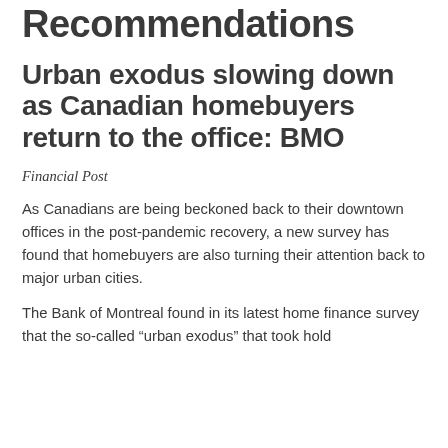Recommendations
Urban exodus slowing down as Canadian homebuyers return to the office: BMO
Financial Post
As Canadians are being beckoned back to their downtown offices in the post-pandemic recovery, a new survey has found that homebuyers are also turning their attention back to major urban cities.
The Bank of Montreal found in its latest home finance survey that the so-called “urban exodus” that took hold